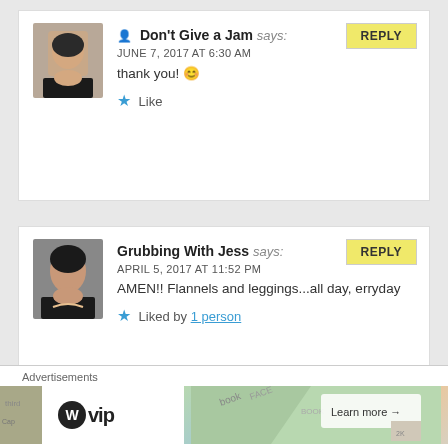Don't Give a Jam says: JUNE 7, 2017 AT 6:30 AM
thank you! 😊
★ Like
Grubbing With Jess says: APRIL 5, 2017 AT 11:52 PM
AMEN!! Flannels and leggings...all day, erryday
★ Liked by 1 person
Advertisements
[Figure (screenshot): WordPress VIP advertisement banner with map/social media imagery and Learn more button]